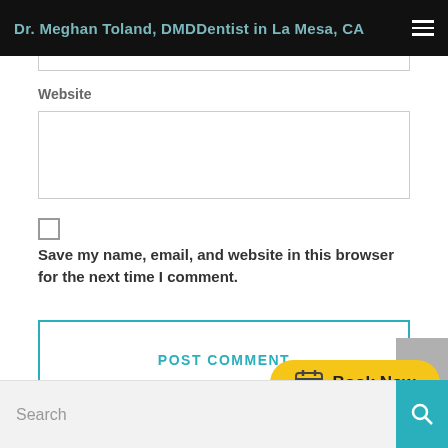Dr. Meghan Toland, DMDDentist in La Mesa, CA
Website
Save my name, email, and website in this browser for the next time I comment.
POST COMMENT
[Figure (other): Book Now button with calendar icon, yellow pill-shaped button]
Search